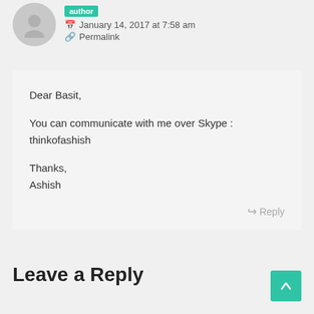[Figure (illustration): Grey silhouette avatar icon for user profile]
author
January 14, 2017 at 7:58 am
Permalink
Dear Basit,

You can communicate with me over Skype : thinkofashish

Thanks,
Ashish
Reply
Leave a Reply